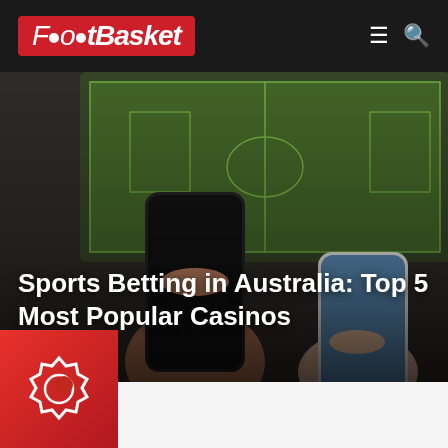FootBasket
[Figure (photo): Two hands holding smartphones in front of a television showing a football/sports field. The image is slightly blurred/bokeh. One phone has a dark screen, the other has a blue screen. Background shows green football pitch on TV.]
Sports Betting in Australia: Top 5 Most Popular Casinos
[Figure (logo): Red gradient square with a white stylized gear/badge icon containing a crescent or abstract symbol — appears to be a site avatar or author icon.]